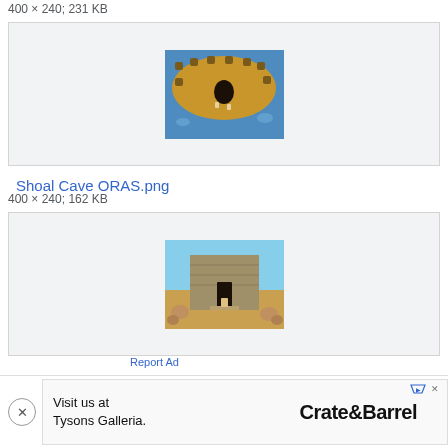400 × 240; 231 KB
[Figure (screenshot): Game screenshot of Shoal Cave top-down view with sandy island, cave entrance, and blue water]
Shoal Cave ORAS.png
400 × 240; 162 KB
[Figure (screenshot): Game screenshot of Sky Pillar entrance area with stone walls, sandy ground, and scattered rocks]
Report Ad
Sky P
[Figure (infographic): Advertisement: Visit us at Tysons Galleria. Crate&Barrel]